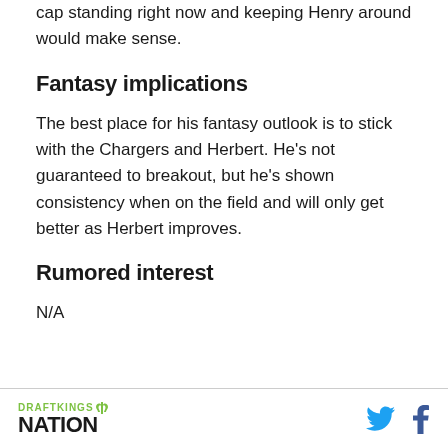cap standing right now and keeping Henry around would make sense.
Fantasy implications
The best place for his fantasy outlook is to stick with the Chargers and Herbert. He's not guaranteed to breakout, but he's shown consistency when on the field and will only get better as Herbert improves.
Rumored interest
N/A
DRAFTKINGS NATION